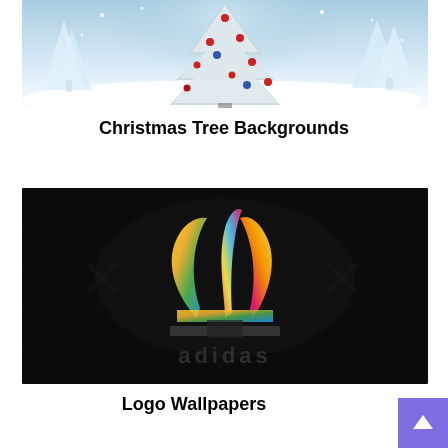[Figure (photo): Christmas scene with a decorated silver/white Christmas tree with red ornaments surrounded by snow-covered trees in a wintery blue-white snowy landscape background]
Christmas Tree Backgrounds
[Figure (logo): Adidas logo with three leaf/petal shapes filled with colorful graffiti-style artwork (yellow, green, blue, pink colors) on a dark black background with subtle dark pattern. The Adidas wordmark appears below in dark gray.]
Logo Wallpapers